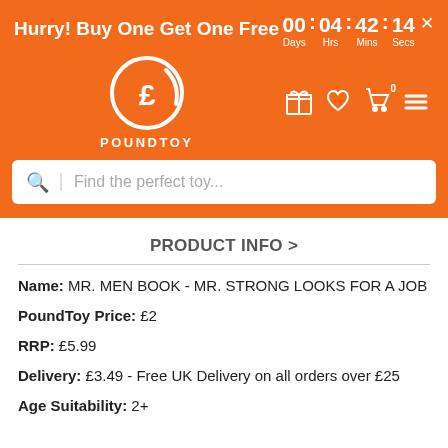Hurry! Buy One Get One Free  00 : 04 : 42 : 14  Days  Hrs  Mins  Secs
[Figure (logo): PoundToy logo — white pound sterling symbol inside a white circle with a swoosh, on orange background, with text POUNDTOY below]
Find the perfect toy...
PRODUCT INFO >
Name: MR. MEN BOOK - MR. STRONG LOOKS FOR A JOB
PoundToy Price: £2
RRP: £5.99
Delivery: £3.49 - Free UK Delivery on all orders over £25
Age Suitability: 2+